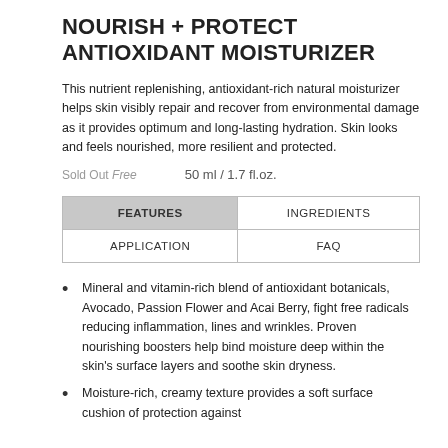NOURISH + PROTECT ANTIOXIDANT MOISTURIZER
This nutrient replenishing, antioxidant-rich natural moisturizer helps skin visibly repair and recover from environmental damage as it provides optimum and long-lasting hydration. Skin looks and feels nourished, more resilient and protected.
Sold Out Free      50 ml / 1.7 fl.oz.
| FEATURES | INGREDIENTS |
| --- | --- |
| APPLICATION | FAQ |
Mineral and vitamin-rich blend of antioxidant botanicals, Avocado, Passion Flower and Acai Berry, fight free radicals reducing inflammation, lines and wrinkles. Proven nourishing boosters help bind moisture deep within the skin's surface layers and soothe skin dryness.
Moisture-rich, creamy texture provides a soft surface cushion of protection against